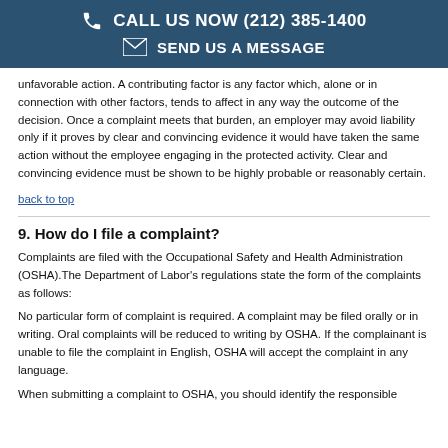CALL US NOW (212) 385-1400 | SEND US A MESSAGE
unfavorable action. A contributing factor is any factor which, alone or in connection with other factors, tends to affect in any way the outcome of the decision. Once a complaint meets that burden, an employer may avoid liability only if it proves by clear and convincing evidence it would have taken the same action without the employee engaging in the protected activity. Clear and convincing evidence must be shown to be highly probable or reasonably certain.
back to top
9. How do I file a complaint?
Complaints are filed with the Occupational Safety and Health Administration (OSHA).The Department of Labor's regulations state the form of the complaints as follows:
No particular form of complaint is required. A complaint may be filed orally or in writing. Oral complaints will be reduced to writing by OSHA. If the complainant is unable to file the complaint in English, OSHA will accept the complaint in any language.
When submitting a complaint to OSHA, you should identify the responsible